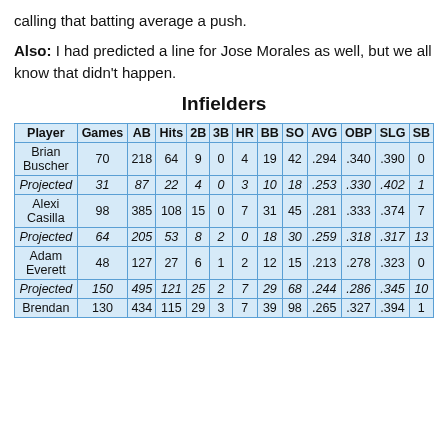calling that batting average a push.
Also: I had predicted a line for Jose Morales as well, but we all know that didn't happen.
Infielders
| Player | Games | AB | Hits | 2B | 3B | HR | BB | SO | AVG | OBP | SLG | SB |
| --- | --- | --- | --- | --- | --- | --- | --- | --- | --- | --- | --- | --- |
| Brian Buscher | 70 | 218 | 64 | 9 | 0 | 4 | 19 | 42 | .294 | .340 | .390 | 0 |
| Projected | 31 | 87 | 22 | 4 | 0 | 3 | 10 | 18 | .253 | .330 | .402 | 1 |
| Alexi Casilla | 98 | 385 | 108 | 15 | 0 | 7 | 31 | 45 | .281 | .333 | .374 | 7 |
| Projected | 64 | 205 | 53 | 8 | 2 | 0 | 18 | 30 | .259 | .318 | .317 | 13 |
| Adam Everett | 48 | 127 | 27 | 6 | 1 | 2 | 12 | 15 | .213 | .278 | .323 | 0 |
| Projected | 150 | 495 | 121 | 25 | 2 | 7 | 29 | 68 | .244 | .286 | .345 | 10 |
| Brendan | 130 | 434 | 115 | 29 | 3 | 7 | 39 | 98 | .265 | .327 | .394 | 1 |